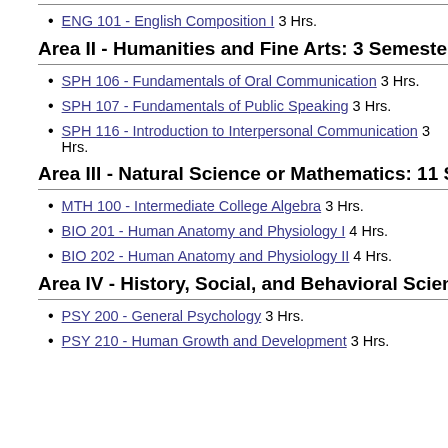ENG 101 - English Composition I 3 Hrs.
Area II - Humanities and Fine Arts: 3 Semester Hours
SPH 106 - Fundamentals of Oral Communication 3 Hrs.
SPH 107 - Fundamentals of Public Speaking 3 Hrs.
SPH 116 - Introduction to Interpersonal Communication 3 Hrs.
Area III - Natural Science or Mathematics: 11 Semester
MTH 100 - Intermediate College Algebra 3 Hrs.
BIO 201 - Human Anatomy and Physiology I 4 Hrs.
BIO 202 - Human Anatomy and Physiology II 4 Hrs.
Area IV - History, Social, and Behavioral Sciences: 6 Se
PSY 200 - General Psychology 3 Hrs.
PSY 210 - Human Growth and Development 3 Hrs.